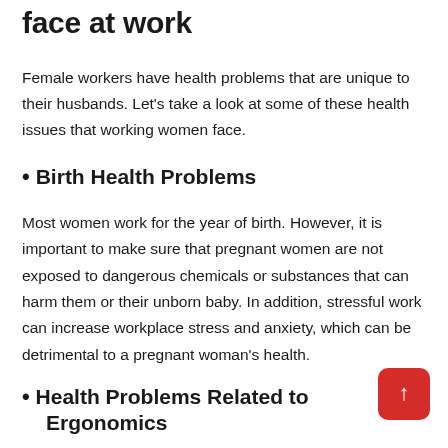face at work
Female workers have health problems that are unique to their husbands. Let’s take a look at some of these health issues that working women face.
• Birth Health Problems
Most women work for the year of birth. However, it is important to make sure that pregnant women are not exposed to dangerous chemicals or substances that can harm them or their unborn baby. In addition, stressful work can increase workplace stress and anxiety, which can be detrimental to a pregnant woman’s health.
• Health Problems Related to Ergonomics